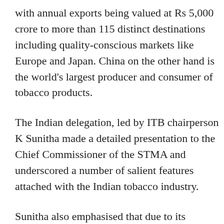with annual exports being valued at Rs 5,000 crore to more than 115 distinct destinations including quality-conscious markets like Europe and Japan. China on the other hand is the world's largest producer and consumer of tobacco products.
The Indian delegation, led by ITB chairperson K Sunitha made a detailed presentation to the Chief Commissioner of the STMA and underscored a number of salient features attached with the Indian tobacco industry.
Sunitha also emphasised that due to its proximity, India could also lower the logistical costs involved in the exports to China. She also mentioned that the Indian produce of tobacco was pesticide residue free